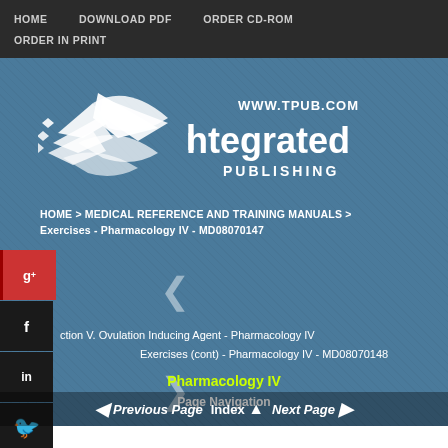HOME   DOWNLOAD PDF   ORDER CD-ROM   ORDER IN PRINT
[Figure (logo): Integrated Publishing logo with bird/arrow motif and WWW.TPUB.COM text]
HOME > MEDICAL REFERENCE AND TRAINING MANUALS > Exercises - Pharmacology IV - MD08070147
ction V. Ovulation Inducing Agent - Pharmacology IV Exercises (cont) - Pharmacology IV - MD08070148
Pharmacology IV
Page Navigation
◄ Previous Page   Index ▲   Next Page ►